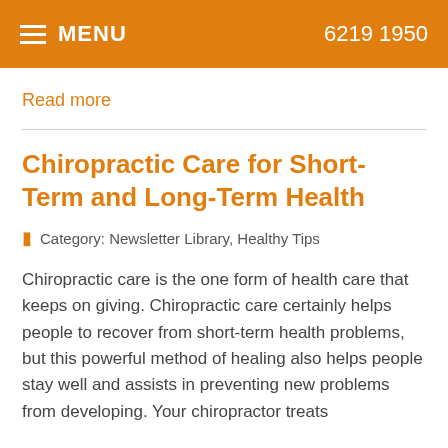MENU   6219 1950
Read more
Chiropractic Care for Short-Term and Long-Term Health
Category: Newsletter Library, Healthy Tips
Chiropractic care is the one form of health care that keeps on giving. Chiropractic care certainly helps people to recover from short-term health problems, but this powerful method of healing also helps people stay well and assists in preventing new problems from developing. Your chiropractor treats